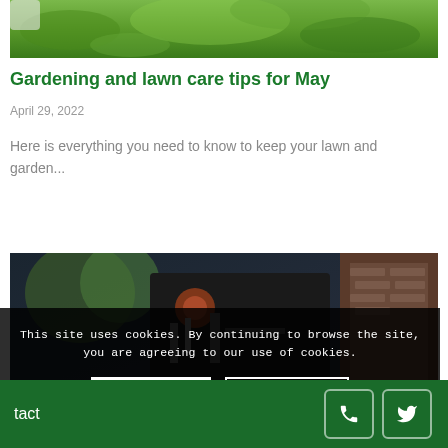[Figure (photo): Close-up of green grass lawn from above, partially cropped at top]
Gardening and lawn care tips for May
April 29, 2022
Here is everything you need to know to keep your lawn and garden...
[Figure (photo): Photo of lawn mower or garden equipment with red parts, dark background, brick building visible on right]
This site uses cookies. By continuing to browse the site, you are agreeing to our use of cookies.
ACCEPT ALL   LEARN MORE
tact